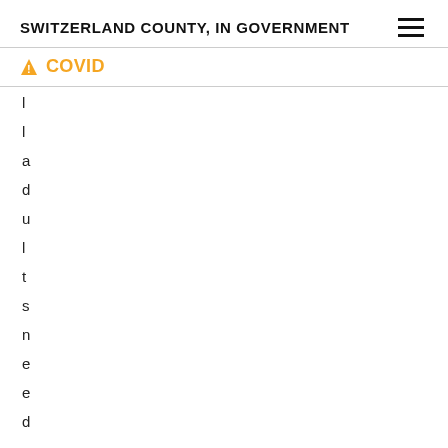SWITZERLAND COUNTY, IN GOVERNMENT
⚠ COVID
l a d u l t s n e e d a f t